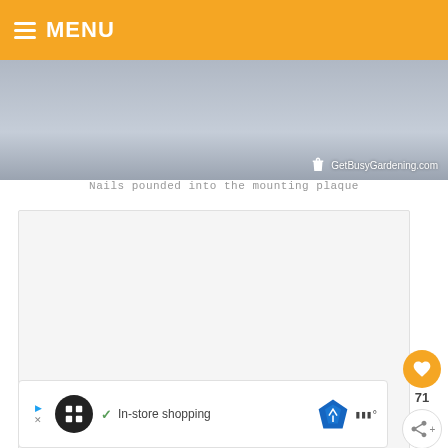MENU
[Figure (photo): Close-up photo of nails pounded into a wooden mounting plaque, with GetBusyGardening.com watermark]
Nails pounded into the mounting plaque
[Figure (other): Advertisement content block with three dot pagination indicators]
[Figure (other): Social interaction buttons: heart/like button with count 71, and share button]
[Figure (other): Bottom advertisement bar with in-store shopping text, store icon, and navigation icon]